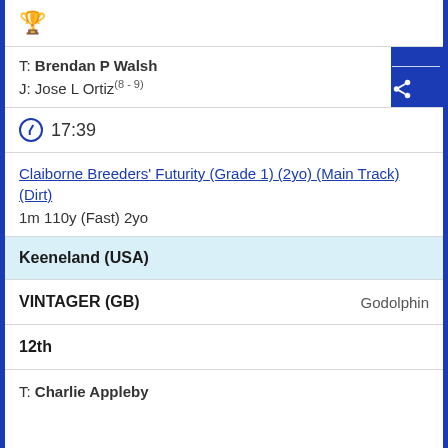[Figure (illustration): Blue trophy icon]
T: Brendan P Walsh
J: Jose L Ortiz (8-9)
17:39
Claiborne Breeders' Futurity (Grade 1) (2yo) (Main Track) (Dirt)
1m 110y (Fast) 2yo
Keeneland (USA)
VINTAGER (GB)   Godolphin
12th
T: Charlie Appleby